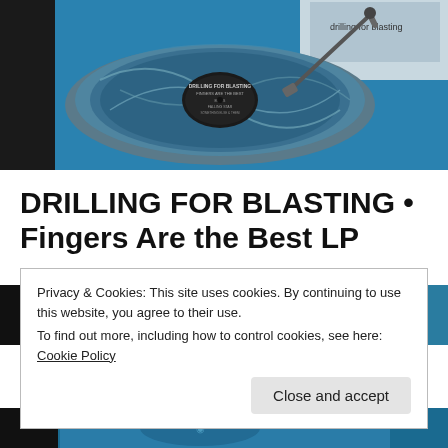[Figure (photo): A colorful vinyl record on a turntable with a blue tinted/marbled surface, with record covers visible in the background including one labeled 'drilling for blasting']
DRILLING FOR BLASTING • Fingers Are the Best LP
[Figure (photo): Partial view of record covers on a blue surface, with 'BELLS' visible on one cover]
Privacy & Cookies: This site uses cookies. By continuing to use this website, you agree to their use.
To find out more, including how to control cookies, see here: Cookie Policy
Close and accept
[Figure (photo): Bottom strip showing part of record/album artwork on blue background]